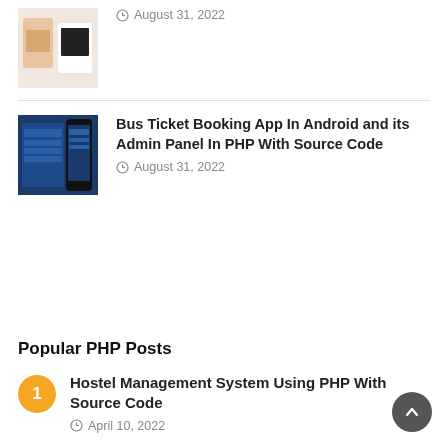[Figure (photo): Thumbnail image of fashion/clothing content - women in crop tops]
August 31, 2022
[Figure (screenshot): Thumbnail screenshot of Bus Ticket Booking App showing Android and PHP admin panel interface with blue UI]
Bus Ticket Booking App In Android and its Admin Panel In PHP With Source Code
August 31, 2022
Popular PHP Posts
1
Hostel Management System Using PHP With Source Code
April 10, 2022